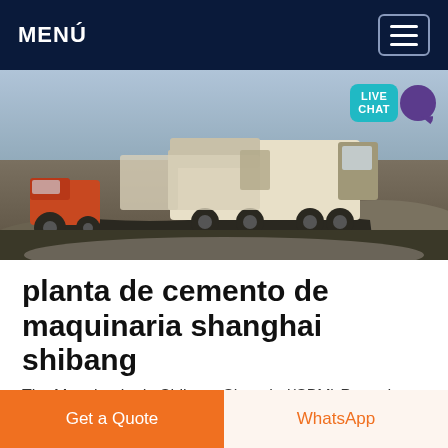MENÚ
[Figure (photo): Outdoor construction site scene with dump trucks and heavy machinery on a dirt/gravel road. A tractor is visible on the left, and large dump trucks are in the center. A LIVE CHAT badge is overlaid in the top-right corner.]
planta de cemento de maquinaria shanghai shibang
The Maquinaria de Shibang Shanghai(SBM) Page does not have any upcoming events shanghai shibang maquinaria de la planta de cemento FABRICANTES DE PLANTAS DE CEMENTO EN CHINA SHANGHAI SHIBANG maquinarias de planta de cemento shanghai
Get a Quote | WhatsApp